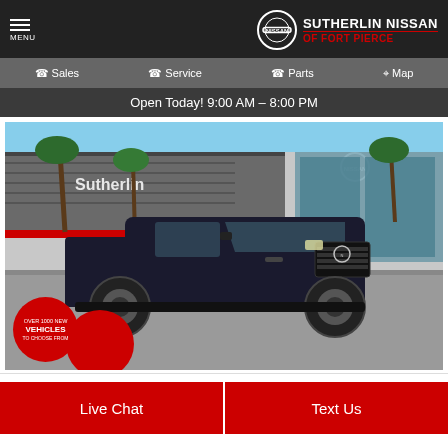SUTHERLIN NISSAN OF FORT PIERCE
Sales  Service  Parts  Map
Open Today! 9:00 AM - 8:00 PM
[Figure (photo): Black Nissan pickup truck (Frontier) parked in front of Sutherlin Nissan dealership building with palm trees. Red circular badge reads OVER 1000 NEW VEHICLES TO CHOOSE FROM.]
Live Chat  Text Us